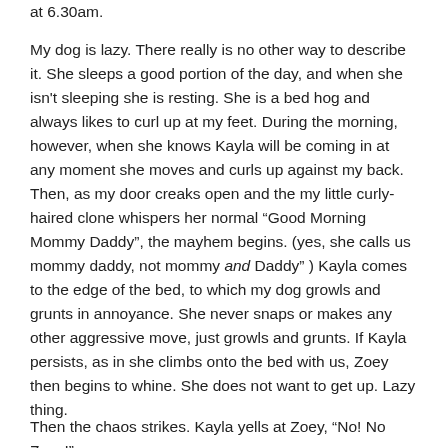at 6.30am.
My dog is lazy. There really is no other way to describe it. She sleeps a good portion of the day, and when she isn't sleeping she is resting. She is a bed hog and always likes to curl up at my feet. During the morning, however, when she knows Kayla will be coming in at any moment she moves and curls up against my back. Then, as my door creaks open and the my little curly-haired clone whispers her normal “Good Morning Mommy Daddy”, the mayhem begins. (yes, she calls us mommy daddy, not mommy and Daddy” ) Kayla comes to the edge of the bed, to which my dog growls and grunts in annoyance. She never snaps or makes any other aggressive move, just growls and grunts. If Kayla persists, as in she climbs onto the bed with us, Zoey then begins to whine. She does not want to get up. Lazy thing.
Then the chaos strikes. Kayla yells at Zoey, “No! No Zoey!”